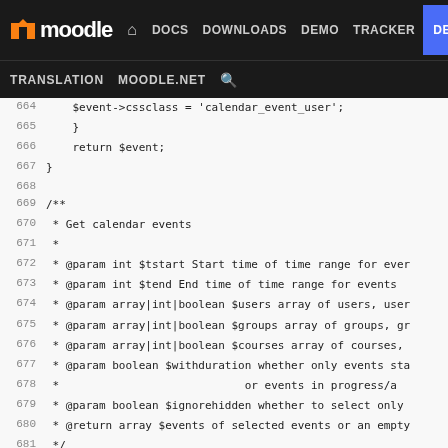moodle | DOCS | DOWNLOADS | DEMO | TRACKER | DEV | TRANSLATION | MOODLE.NET
[Figure (screenshot): PHP source code from Moodle calendar library, lines 664-689, showing calendar_get_events function definition with PHPDoc comments]
664 $event->cssclass = 'calendar_event_user';
665     }
666     return $event;
667 }
668
669 /**
670  * Get calendar events
671  *
672  * @param int $tstart Start time of time range for even
673  * @param int $tend End time of time range for events
674  * @param array|int|boolean $users array of users, user
675  * @param array|int|boolean $groups array of groups, gr
676  * @param array|int|boolean $courses array of courses,
677  * @param boolean $withduration whether only events sta
678  *                              or events in progress/a
679  * @param boolean $ignorehidden whether to select only
680  * @return array $events of selected events or an empty
681  */
682 function calendar_get_events($tstart, $tend, $users, $g
683     global $DB;
684
685     $whereclause = '';
686     // Quick test
687     if(is_bool($users) && is_bool($groups) && is_bool($
688         return array();
689     }